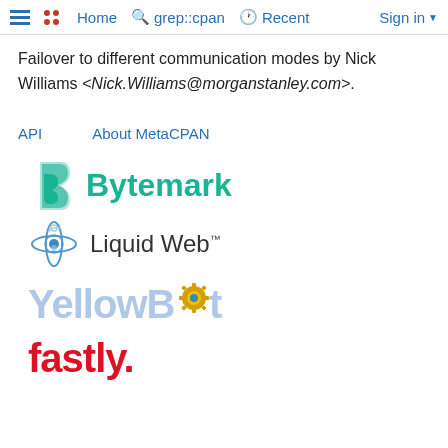≡  Home  grep::cpan  Recent  Sign in ▾
Failover to different communication modes by Nick Williams <Nick.Williams@morganstanley.com>.
API    About MetaCPAN
[Figure (logo): Bytemark logo - green bookmark/flame icon with 'Bytemark' text in green]
[Figure (logo): Liquid Web logo - orbital rings icon with 'Liquid Web TM' text]
[Figure (logo): YellowBot logo - stylized yellow/blue text with gear icon]
[Figure (logo): Fastly logo - red bold text 'fastly.']